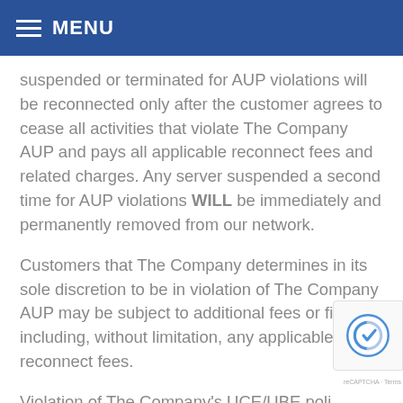MENU
suspended or terminated for AUP violations will be reconnected only after the customer agrees to cease all activities that violate The Company AUP and pays all applicable reconnect fees and related charges. Any server suspended a second time for AUP violations WILL be immediately and permanently removed from our network.
Customers that The Company determines in its sole discretion to be in violation of The Company AUP may be subject to additional fees or fines including, without limitation, any applicable reconnect fees.
Violation of The Company's UCE/UBE poli...